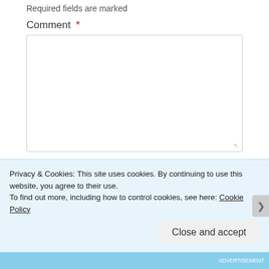Required fields are marked
Comment *
Name *
Privacy & Cookies: This site uses cookies. By continuing to use this website, you agree to their use.
To find out more, including how to control cookies, see here: Cookie Policy
Close and accept